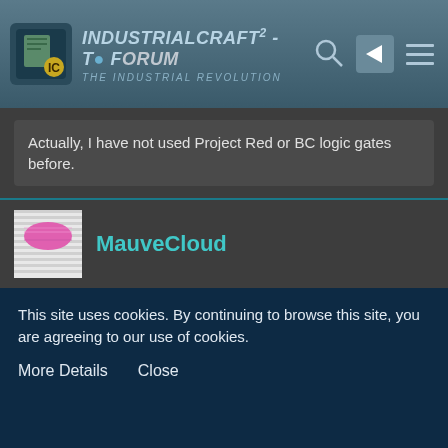IndustrialCraft² - Topic Forum - The Industrial Revolution
Actually, I have not used Project Red or BC logic gates before.
I apologise for this - didnt notice "reduntant" requirement. But each TE machine or utility item can be disabled from crafting in its config.
And here is example of usage Project Red and BC gates to control fluid and fill level of tank
Display Spoiler
MauveCloud
This site uses cookies. By continuing to browse this site, you are agreeing to our use of cookies.
More Details
Close